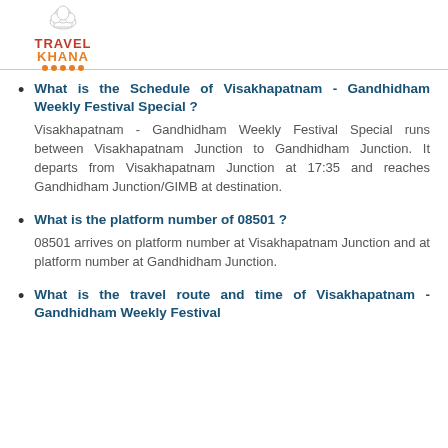[Figure (logo): TravelKhana logo with chef hat icon, red TRAVEL text, orange KHANA text, and orange dots beneath]
What is the Schedule of Visakhapatnam - Gandhidham Weekly Festival Special ?
Visakhapatnam - Gandhidham Weekly Festival Special runs between Visakhapatnam Junction to Gandhidham Junction. It departs from Visakhapatnam Junction at 17:35 and reaches Gandhidham Junction/GIMB at destination.
What is the platform number of 08501 ?
08501 arrives on platform number at Visakhapatnam Junction and at platform number at Gandhidham Junction.
What is the travel route and time of Visakhapatnam - Gandhidham Weekly Festival